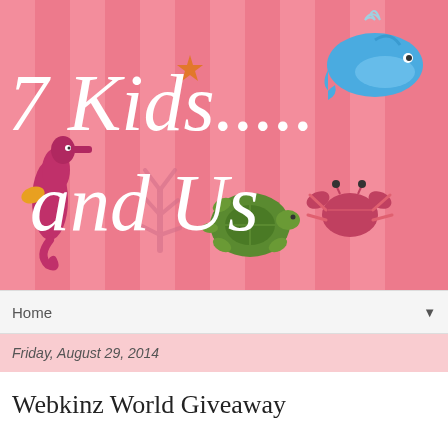[Figure (illustration): Pink striped banner with sea animals (seahorse, coral, turtle, crab, whale) and blog title '7 Kids..... and Us' in white italic script with an orange starfish accent]
Home ▼
Friday, August 29, 2014
Webkinz World Giveaway